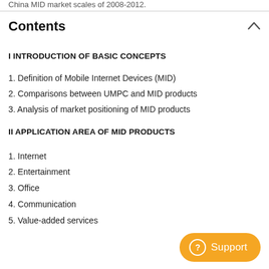China MID market scales of 2008-2012.
Contents
I INTRODUCTION OF BASIC CONCEPTS
1. Definition of Mobile Internet Devices (MID)
2. Comparisons between UMPC and MID products
3. Analysis of market positioning of MID products
II APPLICATION AREA OF MID PRODUCTS
1. Internet
2. Entertainment
3. Office
4. Communication
5. Value-added services